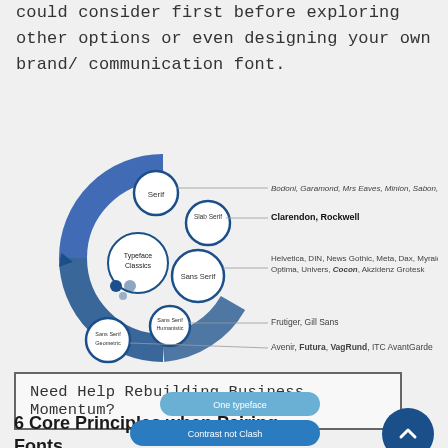With, here are 25 classic fonts you could consider first before exploring other options or even designing your own brand/ communication font.
[Figure (infographic): Circular diagram showing typeface classification: Serif, Slab Serif, Sans Serif, Sans Serif Humanistic, Sans Serif Geometric — with example fonts listed for each category. Center labeled 'Typeface Classics'.]
Need Help Rebuilding Business Momentum?
6 Core Principles when Pairing Fonts
[Figure (infographic): Partial stacked/layered shapes infographic showing beginning of '6 Core Principles' content with labels 'One typeface' and 'Contrast not Clash']